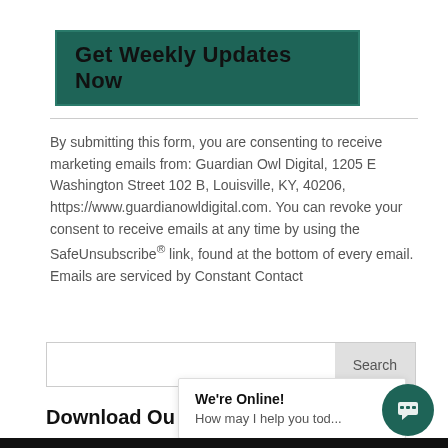Get Weekly Updates Now
By submitting this form, you are consenting to receive marketing emails from: Guardian Owl Digital, 1205 E Washington Street 102 B, Louisville, KY, 40206, https://www.guardianowldigital.com. You can revoke your consent to receive emails at any time by using the SafeUnsubscribe® link, found at the bottom of every email. Emails are serviced by Constant Contact
Search
Download Ou
We're Online!
How may I help you tod...